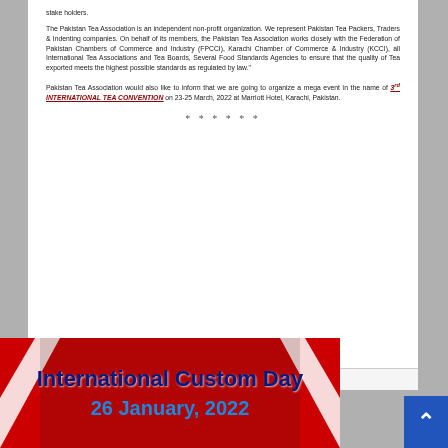stake holders.
The Pakistan Tea Association is an independent non-profit organization. We represent Pakistan Tea Packers, Traders & Indenting companies. On behalf of its members, the Pakistan Tea Association works closely with the Federation of Pakistan Chambers of Commerce and Industry (FPCCI), Karachi Chamber of Commerce & Industry (KCCI), all International Tea Associations and Tea Boards, Several Food Standards Agencies to ensure that the quality of Tea exported meets the highest possible standards as regulated by law."
Pakistan Tea Association would also like to inform that we are going to organize a mega event in the name of 3rd INTERNATIONAL TEA CONVENTION on 23-25 March, 2022 at Marriott Hotel, Karachi, Pakistan.
* * * * * *
Registered Office: Suite 303, 3rd Floor, Business Plaza, Mumtaz Hasan Road, Off: I.I. Chundrigar Road, Karachi. Tel: 32422161 Fax: 32422209 E-mail: pta@cyber.net.pk, pta@outlook.com Website: www.pakistanteaassociation.org
[Figure (infographic): International Custom Day banner with bold text reading 'International Custom Day 26 January, 2022' on a red and white chevron background.]